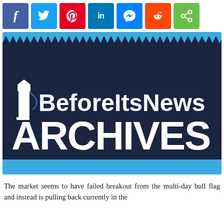[Figure (screenshot): Social media sharing buttons: Facebook (blue-purple), Twitter (light blue), Pinterest (red), LinkedIn (dark blue), Messenger (blue), Reddit (orange), Share (green)]
[Figure (logo): BeforeItsNews Archives logo: lighthouse icon with 'BeforeItsNews' text and 'ARCHIVES' in large letters on dark navy background with teal zigzag borders]
The market seems to have failed breakout from the multi-day bull flag and instead is pulling back currently in the